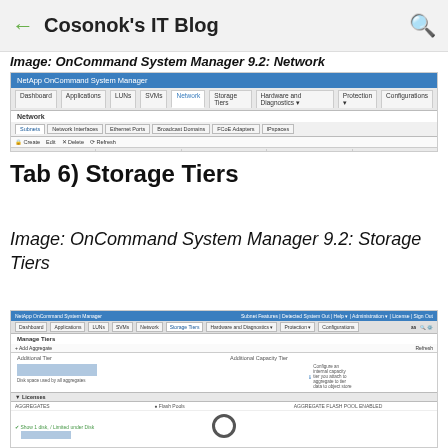← Cosonok's IT Blog 🔍
Image: OnCommand System Manager 9.2: Network
[Figure (screenshot): NetApp OnCommand System Manager 9.2 Network tab showing Subnets sub-tab with columns: Name, Subnet, Gateway, Available IP Addresses, Used IP Addresses]
Tab 6) Storage Tiers
Image: OnCommand System Manager 9.2: Storage Tiers
[Figure (screenshot): NetApp OnCommand System Manager 9.2 Storage Tiers / Manage Tiers screen showing Add Aggregate button, Additional Tier and Additional Capacity Tier sections, and a Licenses panel with Aggregates, Flash Pools, and Aggregate Flash Pool ENABLED columns]